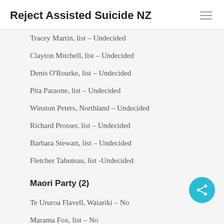Reject Assisted Suicide NZ
Tracey Martin, list – Undecided
Clayton Mitchell, list – Undecided
Denis O'Rourke, list – Undecided
Pita Paraone, list – Undecided
Winston Peters, Northland – Undecided
Richard Prosser, list – Undecided
Barbara Stewart, list – Undecided
Fletcher Tabuteau, list -Undecided
Maori Party (2)
Te Ururoa Flavell, Waiariki – No
Marama Fox, list – No
United Future (1)